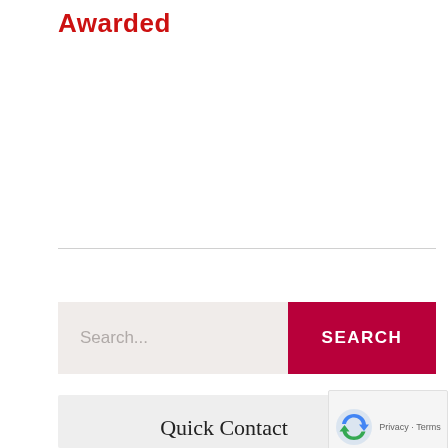Awarded
[Figure (other): Search bar with text input placeholder 'Search...' and a dark red SEARCH button]
Quick Contact
First Name *
[Figure (other): reCAPTCHA badge with Privacy - Terms]